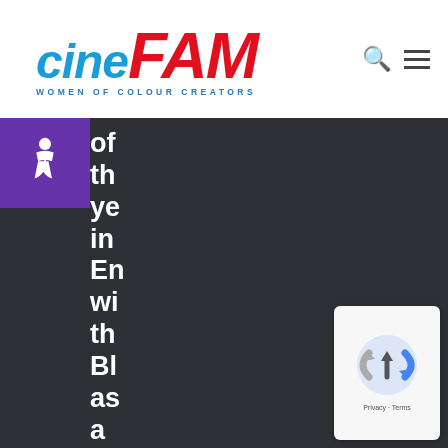[Figure (logo): CineFAM logo with 'cine' in blue italic and 'FAM' in red italic, subtitle 'WOMEN OF COLOUR CREATORS' in blue spaced letters]
[Figure (other): Accessibility wheelchair icon in white on purple background]
of th ye in En wi th Bl as a TV Di Pr
[Figure (other): Google reCAPTCHA badge with logo and Privacy/Terms links]